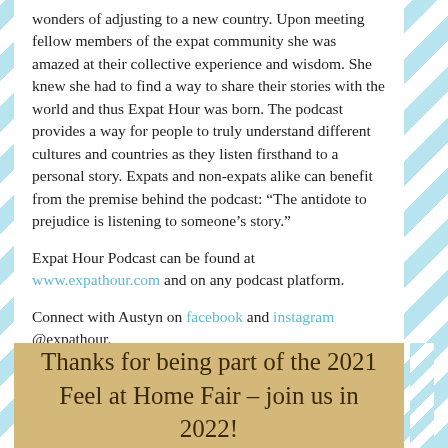wonders of adjusting to a new country. Upon meeting fellow members of the expat community she was amazed at their collective experience and wisdom. She knew she had to find a way to share their stories with the world and thus Expat Hour was born. The podcast provides a way for people to truly understand different cultures and countries as they listen firsthand to a personal story. Expats and non-expats alike can benefit from the premise behind the podcast: “The antidote to prejudice is listening to someone’s story.”
Expat Hour Podcast can be found at www.expathour.com and on any podcast platform.
Connect with Austyn on facebook and instagram @expathour.
Thanks for being part of the 2021 Feel at Home Fair – join us in 2022!